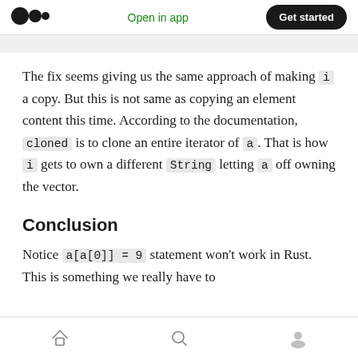Open in app  Get started
The fix seems giving us the same approach of making i a copy. But this is not same as copying an element content this time. According to the documentation, cloned is to clone an entire iterator of a. That is how i gets to own a different String letting a off owning the vector.
Conclusion
Notice a[a[0]] = 9 statement won't work in Rust. This is something we really have to
Home Search Profile